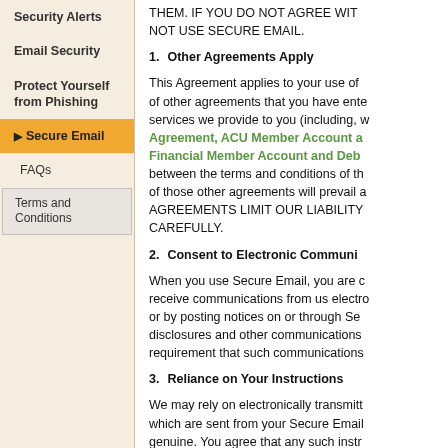Security Alerts
Email Security
Protect Yourself from Phishing
Secure Email
FAQs
Terms and Conditions
THEM. IF YOU DO NOT AGREE WIT... NOT USE SECURE EMAIL.
1.    Other Agreements Apply
This Agreement applies to your use of... of other agreements that you have ente... services we provide to you (including, w... Agreement, ACU Member Account a... Financial Member Account and Debi... between the terms and conditions of th... of those other agreements will prevail a... AGREEMENTS LIMIT OUR LIABILITY... CAREFULLY.
2.    Consent to Electronic Communi...
When you use Secure Email, you are c... receive communications from us electro... or by posting notices on or through Se... disclosures and other communications... requirement that such communications...
3.    Reliance on Your Instructions
We may rely on electronically transmitt... which are sent from your Secure Email... genuine. You agree that any such instr... binding upon you, and you will be solel... from these instructions. We may refuse... Secure Email service, if we believe in g...